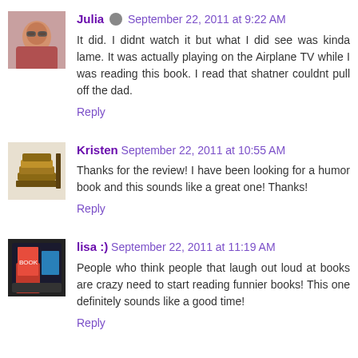[Figure (photo): Avatar photo of Julia - person with glasses]
Julia September 22, 2011 at 9:22 AM
It did. I didnt watch it but what I did see was kinda lame. It was actually playing on the Airplane TV while I was reading this book. I read that shatner couldnt pull off the dad.
Reply
[Figure (photo): Avatar photo of Kristen - stack of books]
Kristen September 22, 2011 at 10:55 AM
Thanks for the review! I have been looking for a humor book and this sounds like a great one! Thanks!
Reply
[Figure (photo): Avatar photo of lisa :)]
lisa :) September 22, 2011 at 11:19 AM
People who think people that laugh out loud at books are crazy need to start reading funnier books! This one definitely sounds like a good time!
Reply